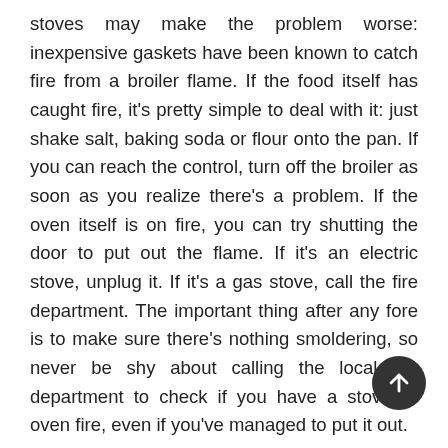stoves may make the problem worse: inexpensive gaskets have been known to catch fire from a broiler flame. If the food itself has caught fire, it's pretty simple to deal with it: just shake salt, baking soda or flour onto the pan. If you can reach the control, turn off the broiler as soon as you realize there's a problem. If the oven itself is on fire, you can try shutting the door to put out the flame. If it's an electric stove, unplug it. If it's a gas stove, call the fire department. The important thing after any fore is to make sure there's nothing smoldering, so never be shy about calling the local fire department to check if you have a stove or oven fire, even if you've managed to put it out.
Many grease fires start when people are deep frying foods. Deep fat fryers are equipped with safety features that prevent the fats from overheating and catching fire, but stove top fat frying can be dangerous. Most foods that are deep fried